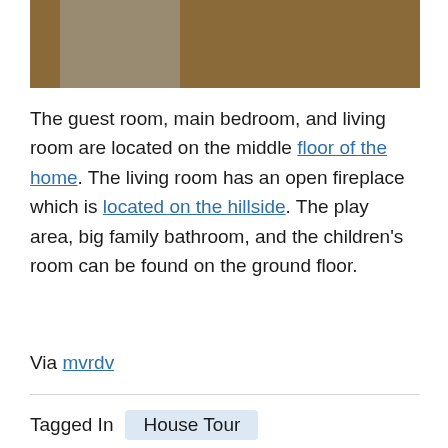[Figure (photo): Exterior photo of a modern house with wood cladding, glass panels, and lush green vegetation on both sides]
The guest room, main bedroom, and living room are located on the middle floor of the home. The living room has an open fireplace which is located on the hillside. The play area, big family bathroom, and the children's room can be found on the ground floor.
Via mvrdv
Tagged In   House Tour